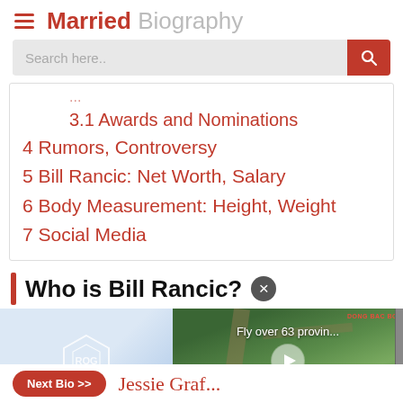Married Biography
Search here..
3.1 Awards and Nominations
4 Rumors, Controversy
5 Bill Rancic: Net Worth, Salary
6 Body Measurement: Height, Weight
7 Social Media
Who is Bill Rancic?
[Figure (screenshot): ASUS ROG Republic of Gamers advertisement banner with blue gradient background]
[Figure (photo): Aerial video thumbnail showing Vietnamese city landscape labeled DONG BAC BO, with play button overlay and PHU THO label]
Fly over 63 provin...
Next Bio >> Jessie Graf...